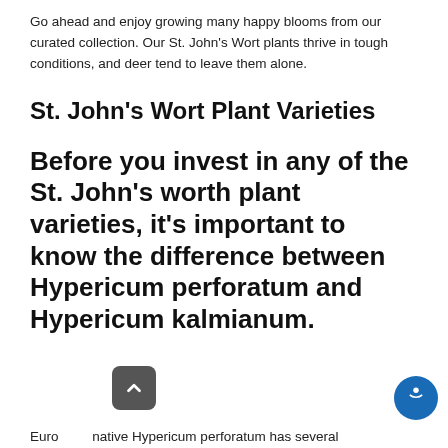Go ahead and enjoy growing many happy blooms from our curated collection. Our St. John's Wort plants thrive in tough conditions, and deer tend to leave them alone.
St. John's Wort Plant Varieties
Before you invest in any of the St. John's worth plant varieties, it's important to know the difference between Hypericum perforatum and Hypericum kalmianum.
Euro[pean] native Hypericum perforatum has several